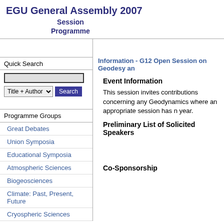EGU General Assembly 2007
Session
Programme
Quick Search
Programme Groups
Great Debates
Union Symposia
Educational Symposia
Atmospheric Sciences
Biogeosciences
Climate: Past, Present, Future
Cryospheric Sciences
Information - G12 Open Session on Geodesy an
Event Information
This session invites contributions concerning any Geodynamics where an appropriate session has n year.
Preliminary List of Solicited Speakers
Co-Sponsorship